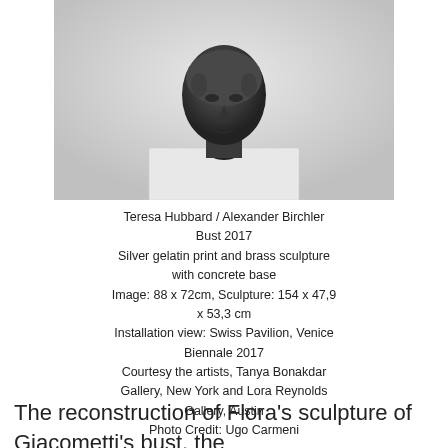[Figure (photo): A dark bronze or concrete bust sculpture of a human head placed on a white rectangular pedestal against a light gray background.]
Teresa Hubbard / Alexander Birchler
Bust 2017
Silver gelatin print and brass sculpture with concrete base
Image: 88 x 72cm, Sculpture: 154 x 47,9 x 53,3 cm
Installation view: Swiss Pavilion, Venice Biennale 2017
Courtesy the artists, Tanya Bonakdar Gallery, New York and Lora Reynolds Gallery, Austin
Photo Credit: Ugo Carmeni
The reconstruction of Flora's sculpture of Giacometti's bust, the